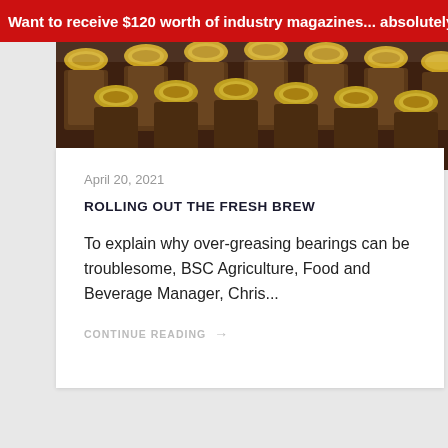Want to receive $120 worth of industry magazines... absolutely f
[Figure (photo): Close-up photo of many brown beer bottles with gold caps, seen from above/side angle, rows of bottlecaps filling the frame]
April 20, 2021
ROLLING OUT THE FRESH BREW
To explain why over-greasing bearings can be troublesome, BSC Agriculture, Food and Beverage Manager, Chris...
CONTINUE READING →